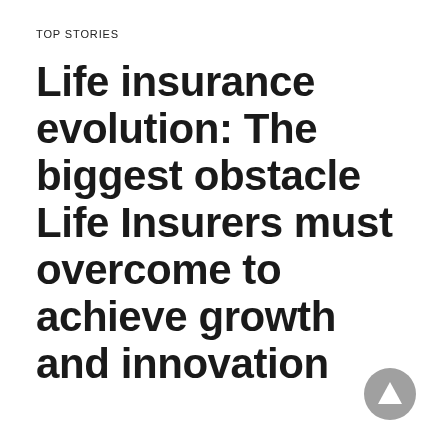TOP STORIES
Life insurance evolution: The biggest obstacle Life Insurers must overcome to achieve growth and innovation
[Figure (other): Grey circular scroll-to-top button with upward triangle arrow icon, positioned bottom-right corner]